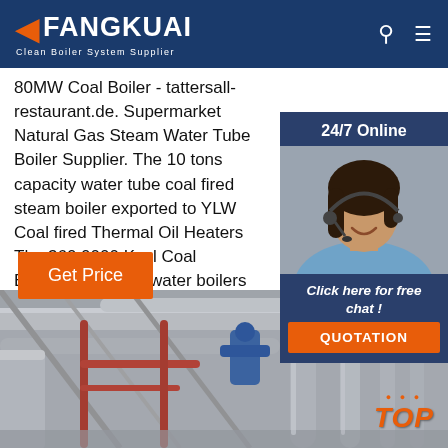FANGKUAI Clean Boiler System Supplier
80MW Coal Boiler - tattersall-restaurant.de. Supermarket Natural Gas Steam Water Tube Boiler Supplier. The 10 tons capacity water tube coal fired steam boiler exported to YLW Coal fired Thermal Oil Heaters The 360,0000 Kcal Coal Biomass fired hot water boilers in Iran . and sanitation.natura water boiler is an from 300,000 up to .
Get Price
24/7 Online
[Figure (photo): Customer service representative woman wearing headset, smiling, in front of dark blue background]
Click here for free chat !
QUOTATION
[Figure (photo): Industrial boiler room with large pipes, valves, and metal ductwork in a factory setting, black and white tones]
TOP